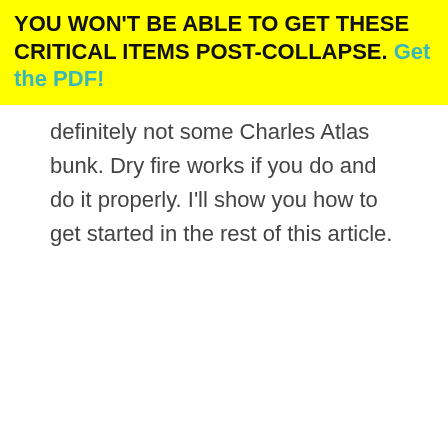YOU WON'T BE ABLE TO GET THESE CRITICAL ITEMS POST-COLLAPSE. Get the PDF!
definitely not some Charles Atlas bunk. Dry fire works if you do and do it properly. I'll show you how to get started in the rest of this article.